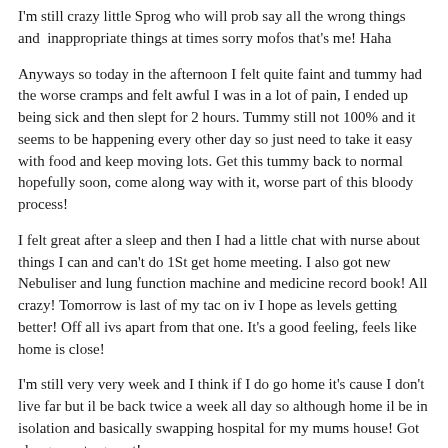I'm still crazy little Sprog who will prob say all the wrong things and  inappropriate things at times sorry mofos that's me! Haha
Anyways so today in the afternoon I felt quite faint and tummy had the worse cramps and felt awful I was in a lot of pain, I ended up being sick and then slept for 2 hours. Tummy still not 100% and it seems to be happening every other day so just need to take it easy with food and keep moving lots. Get this tummy back to normal hopefully soon, come along way with it, worse part of this bloody process!
I felt great after a sleep and then I had a little chat with nurse about things I can and can't do 1St get home meeting. I also got new Nebuliser and lung function machine and medicine record book! All crazy! Tomorrow is last of my tac on iv I hope as levels getting better! Off all ivs apart from that one. It's a good feeling, feels like home is close!
I'm still very very week and I think if I do go home it's cause I don't live far but il be back twice a week all day so although home il be in isolation and basically swapping hospital for my mums house! Got along way to go yet!